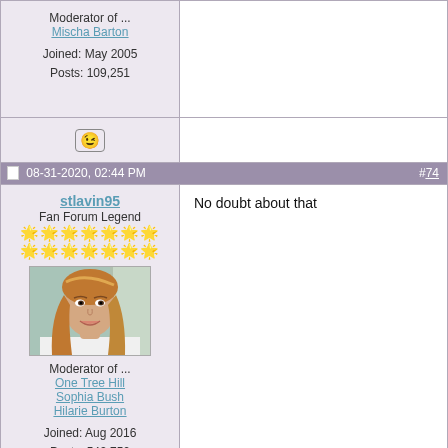| User Info | Post Content |
| --- | --- |
| Moderator of ...
Mischa Barton

Joined: May 2005
Posts: 109,251 |  |
| [emoji] |  |
| 08-31-2020, 02:44 PM | #74 |
| stlavin95
Fan Forum Legend
[stars]
[avatar]
Moderator of ...
One Tree Hill
Sophia Bush
Hilarie Burton

Joined: Aug 2016
Posts: 542,750 | No doubt about that |
| [emoji] |  |
| 09-01-2020, 05:08 PM | #75 |